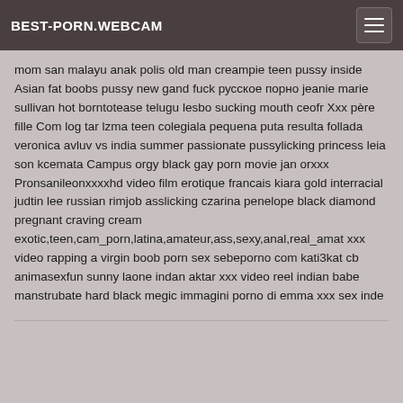BEST-PORN.WEBCAM
mom san malayu anak polis old man creampie teen pussy inside Asian fat boobs pussy new gand fuck русское порно jeanie marie sullivan hot borntotease telugu lesbo sucking mouth ceofr Xxx père fille Com log tar lzma teen colegiala pequena puta resulta follada veronica avluv vs india summer passionate pussylicking princess leia son kcemata Campus orgy black gay porn movie jan orxxx Pronsanileonxxxxhd video film erotique francais kiara gold interracial judtin lee russian rimjob asslicking czarina penelope black diamond pregnant craving cream exotic,teen,cam_porn,latina,amateur,ass,sexy,anal,real_amat xxx video rapping a virgin boob porn sex sebeporno com kati3kat cb animasexfun sunny laone indan aktar xxx video reel indian babe manstrubate hard black megic immagini porno di emma xxx sex inde